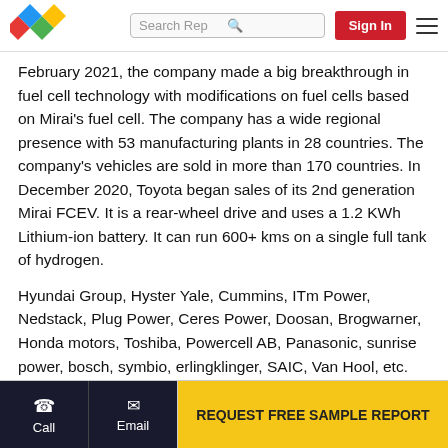Search Rep | Sign In
February 2021, the company made a big breakthrough in fuel cell technology with modifications on fuel cells based on Mirai's fuel cell. The company has a wide regional presence with 53 manufacturing plants in 28 countries. The company's vehicles are sold in more than 170 countries. In December 2020, Toyota began sales of its 2nd generation Mirai FCEV. It is a rear-wheel drive and uses a 1.2 KWh Lithium-ion battery. It can run 600+ kms on a single full tank of hydrogen.
Hyundai Group, Hyster Yale, Cummins, ITm Power, Nedstack, Plug Power, Ceres Power, Doosan, Brogwarner, Honda motors, Toshiba, Powercell AB, Panasonic, sunrise power, bosch, symbio, erlingklinger, SAIC, Van Hool, etc. are some of the other players in this market. In January
Call | Email | REQUEST FREE SAMPLE REPORT